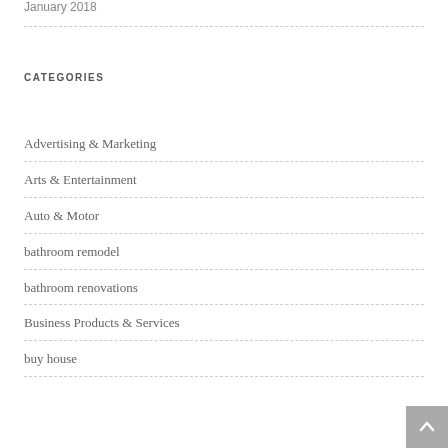January 2018
CATEGORIES
Advertising & Marketing
Arts & Entertainment
Auto & Motor
bathroom remodel
bathroom renovations
Business Products & Services
buy house